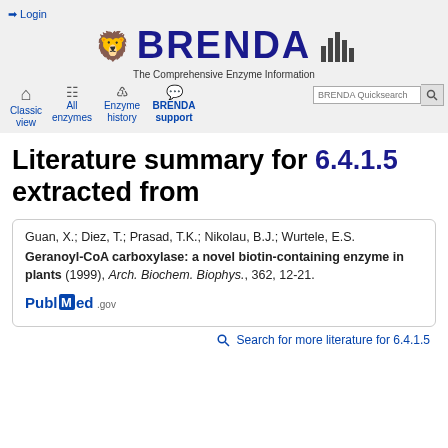Login
[Figure (logo): BRENDA database logo with lion emblem and bar chart icon, subtitle: The Comprehensive Enzyme Information System]
Classic view | All enzymes | Enzyme history | BRENDA support | BRENDA Quicksearch
Literature summary for 6.4.1.5 extracted from
Guan, X.; Diez, T.; Prasad, T.K.; Nikolau, B.J.; Wurtele, E.S. Geranoyl-CoA carboxylase: a novel biotin-containing enzyme in plants (1999), Arch. Biochem. Biophys., 362, 12-21.
[Figure (logo): PubMed.gov logo]
Search for more literature for 6.4.1.5